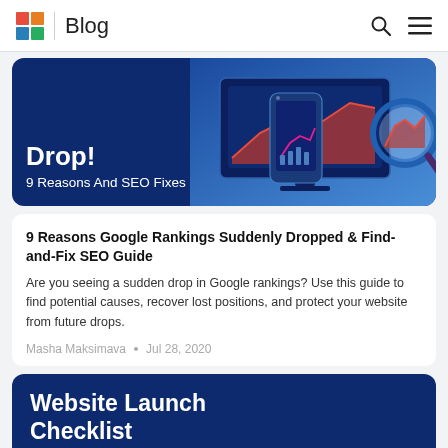Blog
[Figure (illustration): Dark navy banner card with white bold text 'Drop!' and subtitle '9 Reasons And SEO Fixes', alongside a graphic of a smartphone and a magnifying glass over a bar/area chart on a blue background]
9 Reasons Google Rankings Suddenly Dropped & Find-and-Fix SEO Guide
Are you seeing a sudden drop in Google rankings? Use this guide to find potential causes, recover lost positions, and protect your website from future drops.
Masha Maksimava • Jul 28, 2020
[Figure (illustration): Dark navy banner card with white bold text 'Website Launch Checklist']